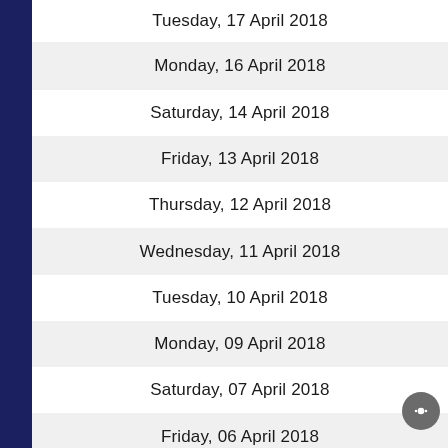Tuesday, 17 April 2018
Monday, 16 April 2018
Saturday, 14 April 2018
Friday, 13 April 2018
Thursday, 12 April 2018
Wednesday, 11 April 2018
Tuesday, 10 April 2018
Monday, 09 April 2018
Saturday, 07 April 2018
Friday, 06 April 2018
Thursday, 05 April 2018